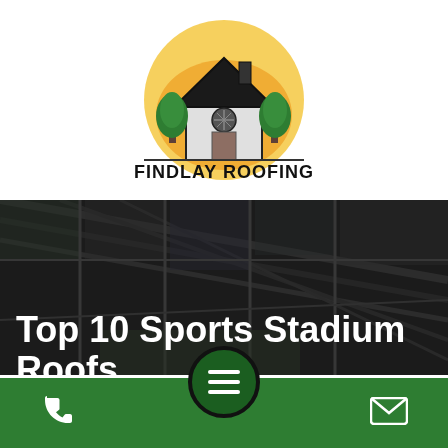[Figure (logo): Findlay Roofing logo: circular design with house, trees, orange sunset background, text 'FINDLAY ROOFING' below]
[Figure (photo): Dark aerial/interior view of a sports stadium roof with structural steel and glass panels]
Top 10 Sports Stadium Roofs
[Figure (other): Green circular hamburger menu button with three white lines, dark border, on green footer bar with phone and email icons]